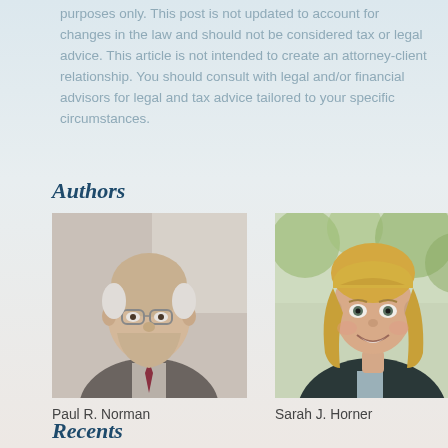purposes only. This post is not updated to account for changes in the law and should not be considered tax or legal advice. This article is not intended to create an attorney-client relationship. You should consult with legal and/or financial advisors for legal and tax advice tailored to your specific circumstances.
Authors
[Figure (photo): Professional headshot of Paul R. Norman, an older gentleman with glasses and gray hair wearing a suit]
Paul R. Norman
[Figure (photo): Professional headshot of Sarah J. Horner, a young woman with blonde hair smiling, wearing a dark blazer]
Sarah J. Horner
Recents